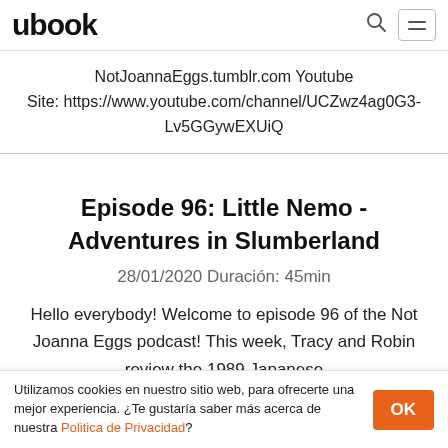ubook
NotJoannaEggs.tumblr.com Youtube Site: https://www.youtube.com/channel/UCZwz4ag0G3-Lv5GGywEXUiQ
Episode 96: Little Nemo - Adventures in Slumberland
28/01/2020 Duración: 45min
Hello everybody! Welcome to episode 96 of the Not Joanna Eggs podcast! This week, Tracy and Robin review the 1989 Japanese
Utilizamos cookies en nuestro sitio web, para ofrecerte una mejor experiencia. ¿Te gustaría saber más acerca de nuestra Politica de Privacidad?